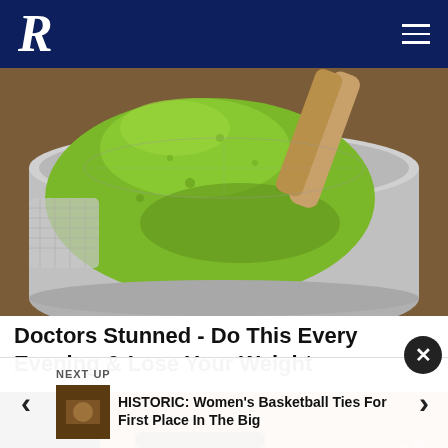R
[Figure (photo): Close-up photo of bright green matcha powder in a metal sieve/tin with a wooden scoop, on a wooden surface.]
Doctors Stunned - Do This Every Evening & Lose Your Weight
[Figure (photo): Close-up photo of a woman's face, eyes visible, hand near forehead.]
NEXT UP
HISTORIC: Women's Basketball Ties For First Place In The Big